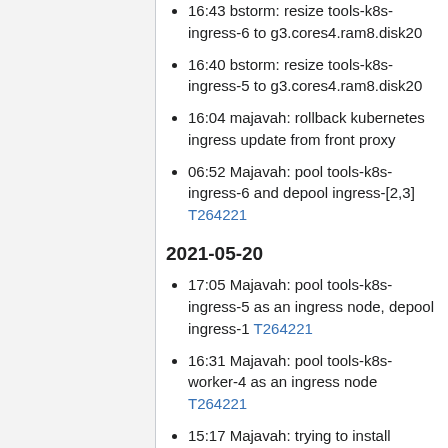16:43 bstorm: resize tools-k8s-ingress-6 to g3.cores4.ram8.disk20
16:40 bstorm: resize tools-k8s-ingress-5 to g3.cores4.ram8.disk20
16:04 majavah: rollback kubernetes ingress update from front proxy
06:52 Majavah: pool tools-k8s-ingress-6 and depool ingress-[2,3] T264221
2021-05-20
17:05 Majavah: pool tools-k8s-ingress-5 as an ingress node, depool ingress-1 T264221
16:31 Majavah: pool tools-k8s-worker-4 as an ingress node T264221
15:17 Majavah: trying to install